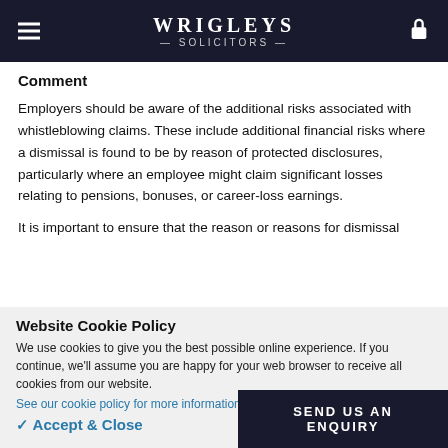WRIGLEYS SOLICITORS
Comment
Employers should be aware of the additional risks associated with whistleblowing claims. These include additional financial risks where a dismissal is found to be by reason of protected disclosures, particularly where an employee might claim significant losses relating to pensions, bonuses, or career-loss earnings.
It is important to ensure that the reason or reasons for dismissal
Website Cookie Policy
We use cookies to give you the best possible online experience. If you continue, we'll assume you are happy for your web browser to receive all cookies from our website.
See our cookie policy for more information
✓ Accept & Close
SEND US AN ENQUIRY